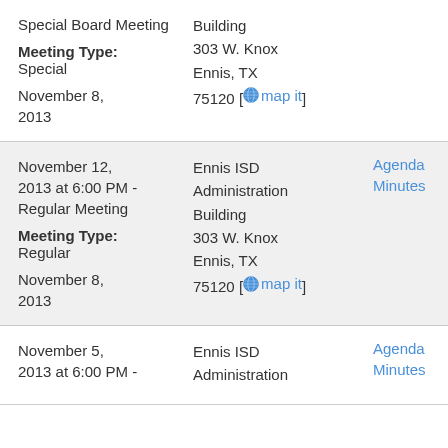Special Board Meeting
Meeting Type: Special
November 8, 2013

Building 303 W. Knox Ennis, TX 75120 [map it]
November 12, 2013 at 6:00 PM - Regular Meeting
Meeting Type: Regular
November 8, 2013

Ennis ISD Administration Building 303 W. Knox Ennis, TX 75120 [map it]

Agenda Minutes
November 5, 2013 at 6:00 PM -
Ennis ISD Administration
Agenda Minutes